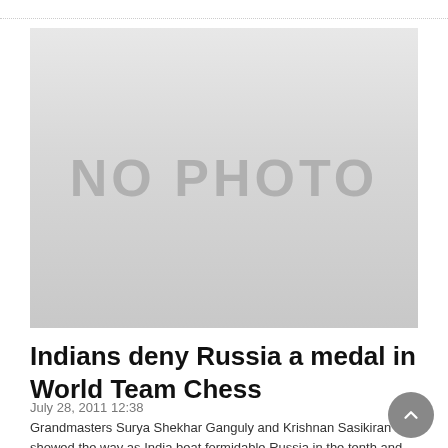[Figure (photo): No photo placeholder image — grey gradient rectangle with 'NO PHOTO' text in center]
Indians deny Russia a medal in World Team Chess
July 28, 2011 12:38
Grandmasters Surya Shekhar Ganguly and Krishnan Sasikiran showed the way as India beat formidable Russia in the tenth and